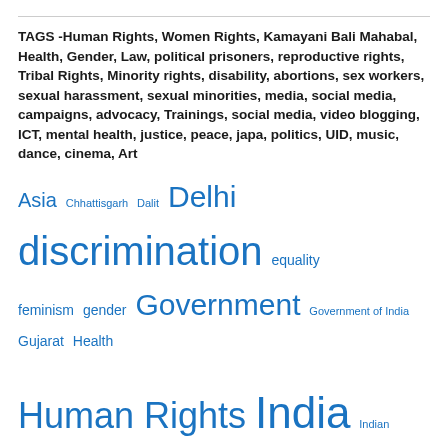TAGS -Human Rights, Women Rights, Kamayani Bali Mahabal, Health, Gender, Law, political prisoners, reproductive rights, Tribal Rights, Minority rights, disability, abortions, sex workers, sexual harassment, sexual minorities, media, social media, campaigns, advocacy, Trainings, social media, video blogging, ICT, mental health, justice, peace, japa, politics, UID, music, dance, cinema, Art
Asia Chhattisgarh Dalit Delhi discrimination equality feminism gender Government Government of India Gujarat Health Human Rights India Indian Standard Time Koodankulam Madhya Pradesh Maharashtra Maoism Mumbai Narendra Modi New Delhi Rape Sexual Assault Supreme Court Tamil Nadu torture